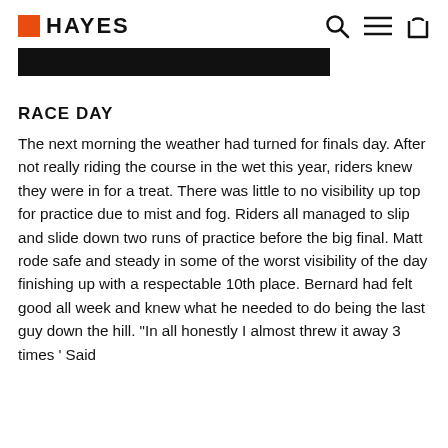HAYES
[Figure (other): Black horizontal banner/bar image]
RACE DAY
The next morning the weather had turned for finals day. After not really riding the course in the wet this year, riders knew they were in for a treat. There was little to no visibility up top for practice due to mist and fog. Riders all managed to slip and slide down two runs of practice before the big final. Matt rode safe and steady in some of the worst visibility of the day finishing up with a respectable 10th place. Bernard had felt good all week and knew what he needed to do being the last guy down the hill. "In all honestly I almost threw it away 3 times ' Said